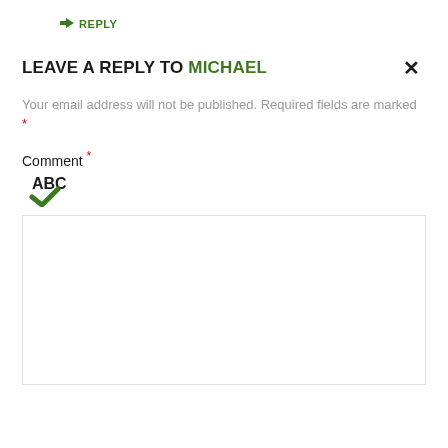↳ REPLY
LEAVE A REPLY TO MICHAEL ×
Your email address will not be published. Required fields are marked *
Comment *
[Figure (illustration): Spell-check icon: ABC with a green checkmark below]
[Figure (screenshot): Empty comment text area input box]